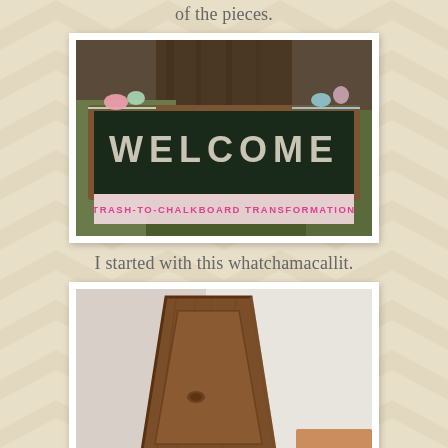of the pieces.
[Figure (photo): A framed chalkboard sign reading WELCOME with colorful ribbon garlands, propped against a tree outdoors. Below the photo is a banner reading TRASH-TO-CHALKBOARD TRANSFORMATION in pink decorative text.]
I started with this whatchamacallit.
[Figure (photo): A wooden panel or board with a routed frame/border, photographed against a white background. The wood has a dark walnut stain with visible grain.]